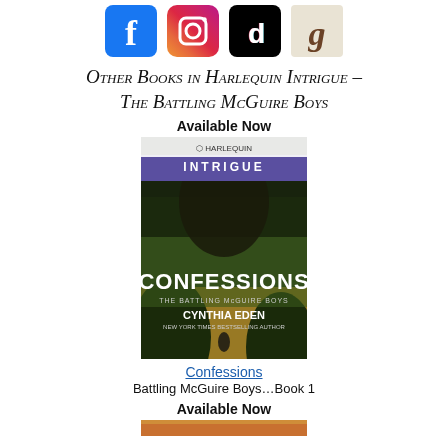[Figure (illustration): Row of four social media icons: Facebook (blue), Instagram (gradient), TikTok (black), Goodreads (tan/beige)]
Other Books in Harlequin Intrigue – The Battling McGuire Boys
Available Now
[Figure (photo): Book cover for 'Confessions' – Harlequin Intrigue, The Battling McGuire Boys series, by Cynthia Eden, New York Times Bestselling Author. Shows a man's face in shadows against a forest background.]
Confessions
Battling McGuire Boys…Book 1
Available Now